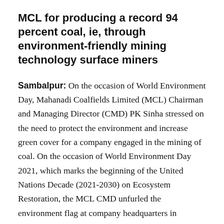MCL for producing a record 94 percent coal, ie, through environment-friendly mining technology surface miners
Sambalpur: On the occasion of World Environment Day, Mahanadi Coalfields Limited (MCL) Chairman and Managing Director (CMD) PK Sinha stressed on the need to protect the environment and increase green cover for a company engaged in the mining of coal. On the occasion of World Environment Day 2021, which marks the beginning of the United Nations Decade (2021-2030) on Ecosystem Restoration, the MCL CMD unfurled the environment flag at company headquarters in Sambalpur, Odisha, and administered an oath to senior officers present at